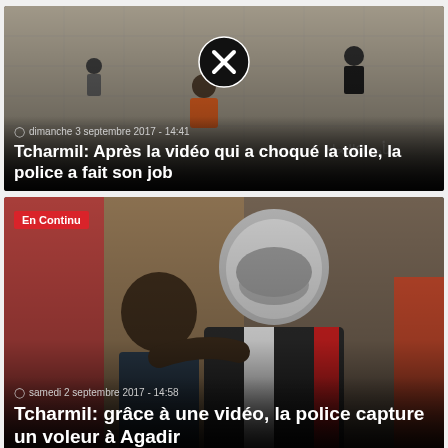[Figure (photo): Overhead/aerial photo of people on a tiled surface with a circular X (close) button overlay in the center]
dimanche 3 septembre 2017 - 14:41
Tcharmil: Après la vidéo qui a choqué la toile, la police a fait son job
[Figure (photo): Photo of two men, one wearing a motorcycle helmet and jacket, being detained or escorted]
En Continu
samedi 2 septembre 2017 - 14:58
Tcharmil: grâce à une vidéo, la police capture un voleur à Agadir